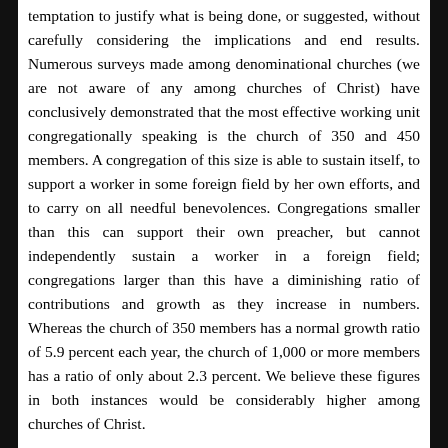temptation to justify what is being done, or suggested, without carefully considering the implications and end results. Numerous surveys made among denominational churches (we are not aware of any among churches of Christ) have conclusively demonstrated that the most effective working unit congregationally speaking is the church of 350 and 450 members. A congregation of this size is able to sustain itself, to support a worker in some foreign field by her own efforts, and to carry on all needful benevolences. Congregations smaller than this can support their own preacher, but cannot independently sustain a worker in a foreign field; congregations larger than this have a diminishing ratio of contributions and growth as they increase in numbers. Whereas the church of 350 members has a normal growth ratio of 5.9 percent each year, the church of 1,000 or more members has a ratio of only about 2.3 percent. We believe these figures in both instances would be considerably higher among churches of Christ.
We have noted a few figures recently of total baptisms in